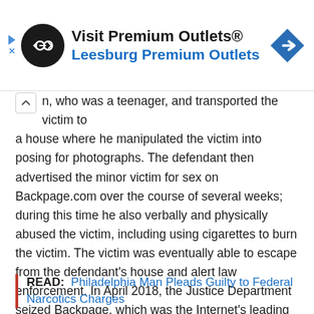[Figure (other): Advertisement banner for Visit Premium Outlets® — Leesburg Premium Outlets, with a logo circle containing infinity/loop icon, navigation sign icon, and ad disclosure arrows]
n, who was a teenager, and transported the victim to a house where he manipulated the victim into posing for photographs. The defendant then advertised the minor victim for sex on Backpage.com over the course of several weeks; during this time he also verbally and physically abused the victim, including using cigarettes to burn the victim. The victim was eventually able to escape from the defendant's house and alert law enforcement. In April 2018, the Justice Department seized Backpage, which was the Internet's leading forum for prostitution ads, including ads depicting the prostitution of children.
READ: Philadelphia Man Pleads Guilty to Federal Narcotics Charges